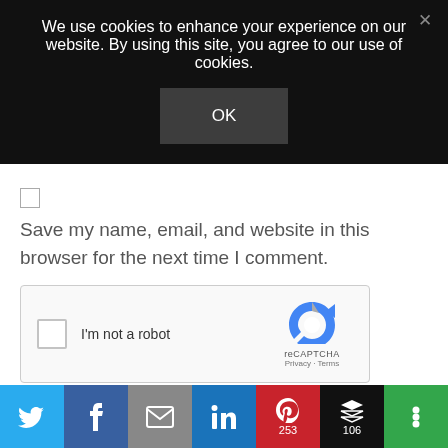We use cookies to enhance your experience on our website. By using this site, you agree to our use of cookies.
[Figure (screenshot): OK button inside cookie consent banner]
Save my name, email, and website in this browser for the next time I comment.
[Figure (screenshot): reCAPTCHA widget with checkbox labeled I'm not a robot and reCAPTCHA Privacy Terms logo]
POST COMMENT
[Figure (infographic): Social sharing bar with icons for Twitter, Facebook, Email, LinkedIn, Pinterest (253), Buffer (106), and More]